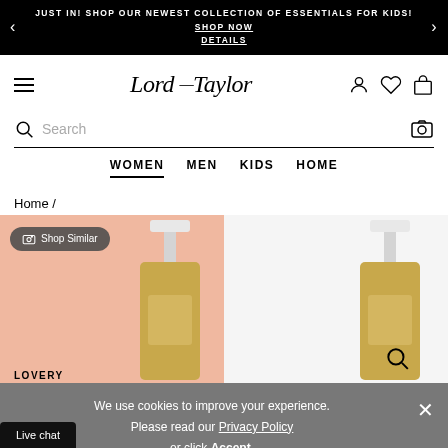JUST IN! SHOP OUR NEWEST COLLECTION OF ESSENTIALS FOR KIDS! SHOP NOW DETAILS
[Figure (logo): Lord & Taylor script logo]
Search
WOMEN MEN KIDS HOME
Home /
[Figure (photo): Two gold pump dispensers with white tops on a pink/white background. Shop Similar badge visible on left product.]
We use cookies to improve your experience. Please read our Privacy Policy or click Accept.
Live chat
LOVERY